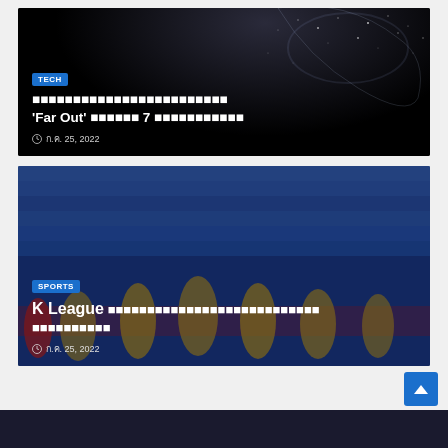[Figure (screenshot): Tech article card with dark starry background. Badge labeled TECH in blue. Title in white Thai/mixed text including 'Far Out' and '7'. Date shown: ก.ค. 25, 2022.]
[Figure (screenshot): Sports article card with K League football players photo background. Badge labeled SPORTS in blue. Title starts with 'K League' followed by Thai text. Date shown: ก.ค. 25, 2022.]